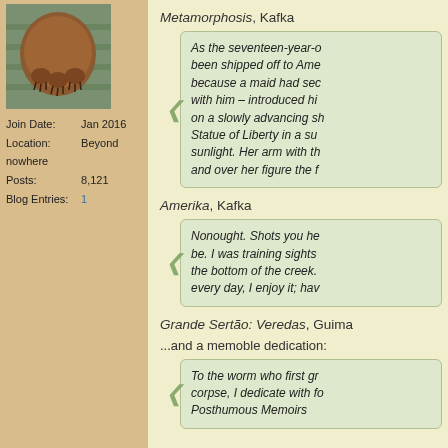[Figure (photo): Avatar photo showing what appears to be an animal (possibly a bear or similar) photographed from above, showing fur and claws, with green bars visible]
Join Date:  Jan 2016
Location:  Beyond nowhere
Posts:  8,121
Blog Entries:  1
Metamorphosis, Kafka
As the seventeen-year-o... been shipped off to Ame... because a maid had sec... with him – introduced hi... on a slowly advancing sh... Statue of Liberty in a su... sunlight. Her arm with th... and over her figure the f...
Amerika, Kafka
Nonought. Shots you he... be. I was training sights ... the bottom of the creek. ... every day, I enjoy it; hav...
Grande Sertão: Veredas, Guima...
...and a memoble dedication:
To the worm who first gr... corpse, I dedicate with fo... Posthumous Memoirs